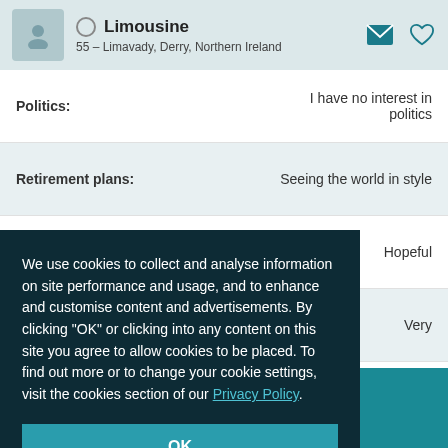Limousine — 55 – Limavady, Derry, Northern Ireland
Politics: I have no interest in politics
Retirement plans: Seeing the world in style
Hopeful
Very
We use cookies to collect and analyse information on site performance and usage, and to enhance and customise content and advertisements. By clicking "OK" or clicking into any content on this site you agree to allow cookies to be placed. To find out more or to change your cookie settings, visit the cookies section of our Privacy Policy.
OK